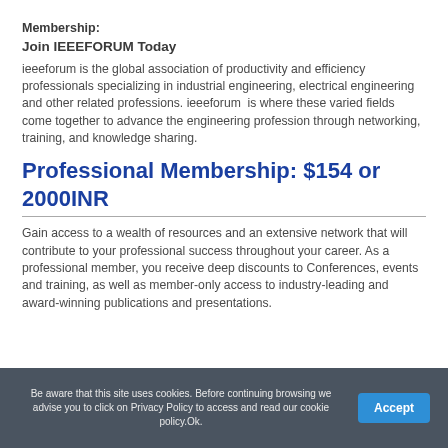Membership:
Join IEEEFORUM Today
ieeeforum is the global association of productivity and efficiency professionals specializing in industrial engineering, electrical engineering and other related professions. ieeeforum  is where these varied fields come together to advance the engineering profession through networking, training, and knowledge sharing.
Professional Membership: $154 or 2000INR
Gain access to a wealth of resources and an extensive network that will contribute to your professional success throughout your career. As a professional member, you receive deep discounts to Conferences, events and training, as well as member-only access to industry-leading and award-winning publications and presentations.
Be aware that this site uses cookies. Before continuing browsing we advise you to click on Privacy Policy to access and read our cookie policy.Ok.